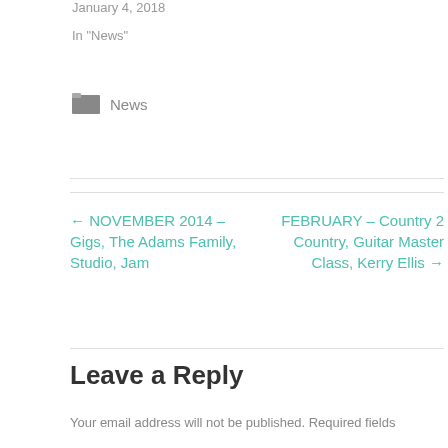January 4, 2018
In "News"
News
← NOVEMBER 2014 – Gigs, The Adams Family, Studio, Jam
FEBRUARY – Country 2 Country, Guitar Master Class, Kerry Ellis →
Leave a Reply
Your email address will not be published. Required fields